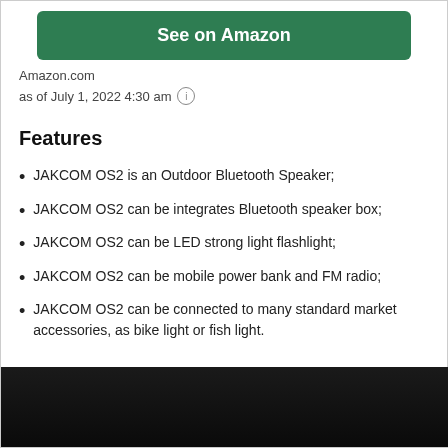See on Amazon
Amazon.com
as of July 1, 2022 4:30 am ℹ
Features
JAKCOM OS2 is an Outdoor Bluetooth Speaker;
JAKCOM OS2 can be integrates Bluetooth speaker box;
JAKCOM OS2 can be LED strong light flashlight;
JAKCOM OS2 can be mobile power bank and FM radio;
JAKCOM OS2 can be connected to many standard market accessories, as bike light or fish light.
[Figure (photo): Dark product image at the bottom of the page]